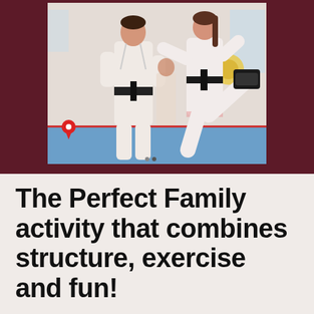[Figure (photo): Two people in white taekwondo uniforms (doboks) with black belts practicing martial arts in a dojo. One person on the left stands holding their abdomen, and on the right another person performs a high kick. A red location pin icon is overlaid on the lower left of the photo.]
The Perfect Family activity that combines structure, exercise and fun!